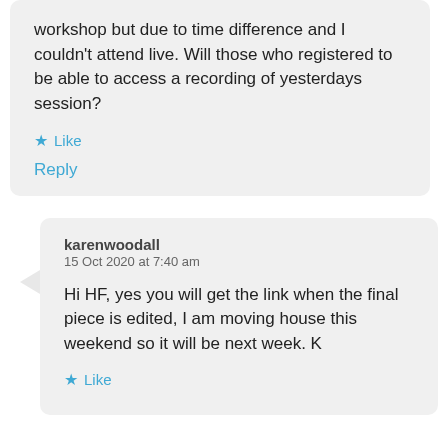workshop but due to time difference and I couldn't attend live. Will those who registered to be able to access a recording of yesterdays session?
★ Like
Reply
karenwoodall
15 Oct 2020 at 7:40 am
Hi HF, yes you will get the link when the final piece is edited, I am moving house this weekend so it will be next week. K
★ Like